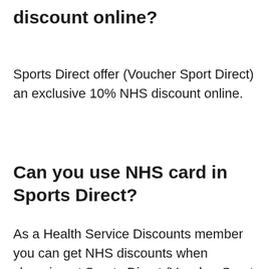discount online?
Sports Direct offer (Voucher Sport Direct) an exclusive 10% NHS discount online.
Can you use NHS card in Sports Direct?
As a Health Service Discounts member you can get NHS discounts when shopping at Sports Direct (Voucher Sport